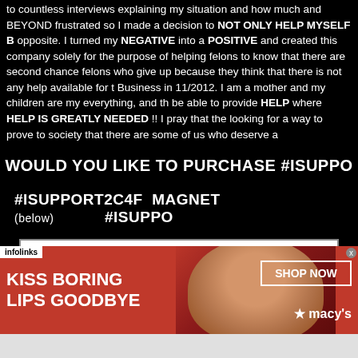to countless interviews explaining my situation and how much and BEYOND frustrated so I made a decision to NOT ONLY HELP MYSELF BUT opposite. I turned my NEGATIVE into a POSITIVE and created this company solely for the purpose of helping felons to know that there are second chance felons who give up because they think that there is not any help available for t Business in 11/2012. I am a mother and my children are my everything, and th be able to provide HELP where HELP IS GREATLY NEEDED !! I pray that the looking for a way to prove to society that there are some of us who deserve a
WOULD YOU LIKE TO PURCHASE #ISUPPO
#ISUPPORT2C4F  MAGNET (below)          #ISUPPO
[Figure (other): 2nd Chances 4 Felons business card/magnet with title '2ND CHANCES 4 FELONS', subtitle 'Specializing in assisting felons with overcoming daily obstacles that they face due to their convictions', and URL 'WWW.2NDCHANCES4FELONS.COM']
[Figure (other): Advertisement banner: red background with woman's face, text 'KISS BORING LIPS GOODBYE', 'SHOP NOW' button, Macy's logo with star, infolinks badge, close X button]